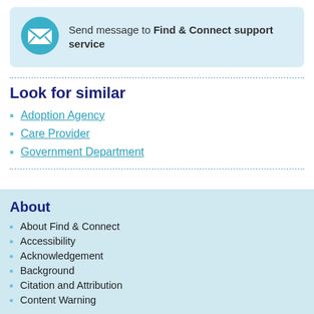[Figure (infographic): Teal circular mail/envelope icon inside a light blue rounded box]
Send message to Find & Connect support service
Look for similar
Adoption Agency
Care Provider
Government Department
About
About Find & Connect
Accessibility
Acknowledgement
Background
Citation and Attribution
Content Warning